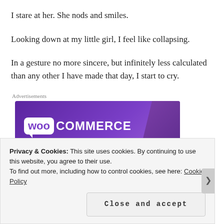I stare at her. She nods and smiles.
Looking down at my little girl, I feel like collapsing.
In a gesture no more sincere, but infinitely less calculated than any other I have made that day, I start to cry.
Advertisements
[Figure (logo): WooCommerce logo on purple gradient banner background]
Privacy & Cookies: This site uses cookies. By continuing to use this website, you agree to their use.
To find out more, including how to control cookies, see here: Cookie Policy
Close and accept